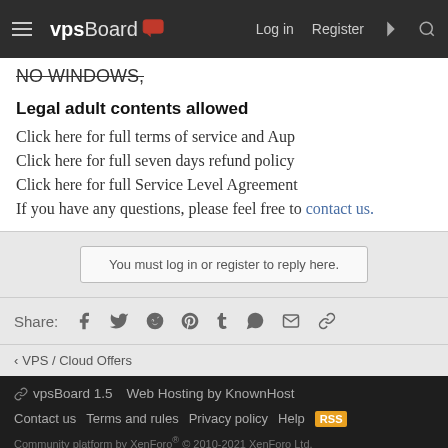vpsBoard | Log in | Register
NO WINDOWS,
Legal adult contents allowed
Click here for full terms of service and Aup
Click here for full seven days refund policy
Click here for full Service Level Agreement
If you have any questions, please feel free to contact us.
You must log in or register to reply here.
Share:
VPS / Cloud Offers
vpsBoard 1.5  Web Hosting by KnownHost
Contact us  Terms and rules  Privacy policy  Help
Community platform by XenForo® © 2010-2021 XenForo Ltd.